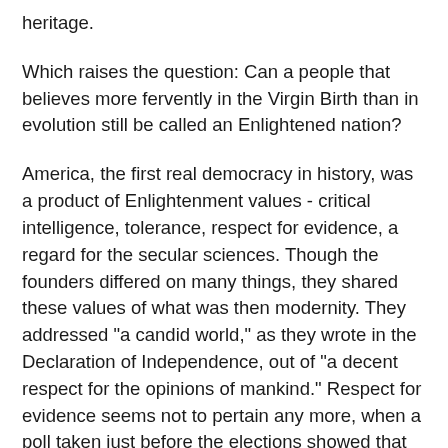heritage.
Which raises the question: Can a people that believes more fervently in the Virgin Birth than in evolution still be called an Enlightened nation?
America, the first real democracy in history, was a product of Enlightenment values - critical intelligence, tolerance, respect for evidence, a regard for the secular sciences. Though the founders differed on many things, they shared these values of what was then modernity. They addressed "a candid world," as they wrote in the Declaration of Independence, out of "a decent respect for the opinions of mankind." Respect for evidence seems not to pertain any more, when a poll taken just before the elections showed that 75 percent of Mr. Bush's supporters believe Iraq either worked closely with Al Qaeda or was directly involved in the attacks of 9/11.
The secular states of modern Europe do not understand the fundamentalism of the American electorate. It is not what they had experienced from this country in the past. In fact,